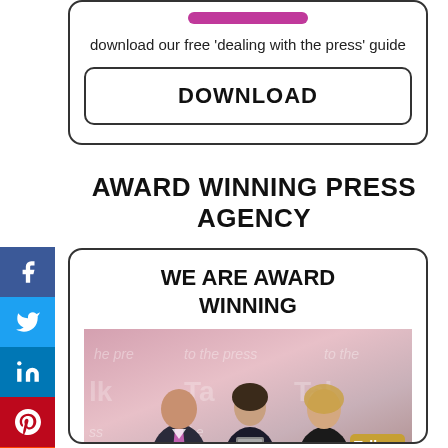[Figure (illustration): Pink/magenta horizontal bar button element at top of download box]
download our free 'dealing with the press' guide
DOWNLOAD
AWARD WINNING PRESS AGENCY
WE ARE AWARD WINNING
[Figure (photo): Three people standing together at an awards event; man in suit with pink tie on left, woman in dark outfit holding award in centre, woman in dark top on right. Background shows event branding with 'Talk' and 'to the press' text.]
[Figure (infographic): Social media sharing sidebar with Facebook, Twitter, LinkedIn, Pinterest, and Reddit buttons]